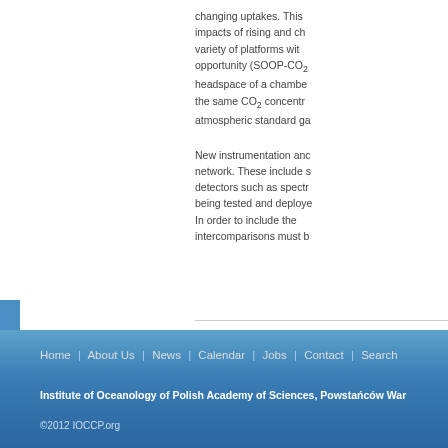changing uptakes. This impacts of rising and ch variety of platforms wit opportunity (SOOP-CO2 headspace of a chambe the same CO2 concentr atmospheric standard ga
New instrumentation anc network. These include s detectors such as spectr being tested and deploye In order to include the intercomparisons must b
Home | About Us | News | Calendar | Jobs | Contact | Search
Institute of Oceanology of Polish Academy of Sciences, Powstańców War
©2012 IOCCP.org